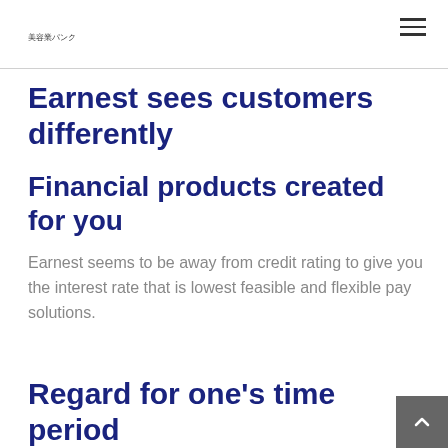美容業パンク
Earnest sees customers differently
Financial products created for you
Earnest seems to be away from credit rating to give you the interest rate that is lowest feasible and flexible pay solutions.
Regard for one's time period